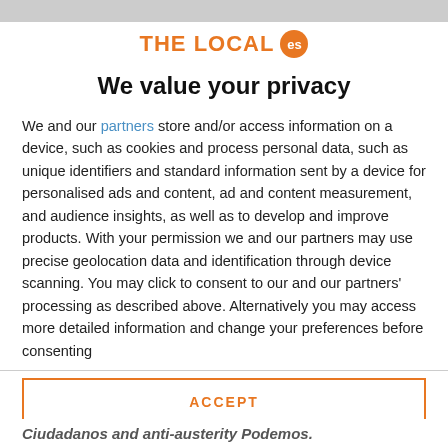[Figure (logo): The Local ES logo with orange text and orange circular badge with 'es']
We value your privacy
We and our partners store and/or access information on a device, such as cookies and process personal data, such as unique identifiers and standard information sent by a device for personalised ads and content, ad and content measurement, and audience insights, as well as to develop and improve products. With your permission we and our partners may use precise geolocation data and identification through device scanning. You may click to consent to our and our partners' processing as described above. Alternatively you may access more detailed information and change your preferences before consenting
ACCEPT
MORE OPTIONS
Ciudadanos and anti-austerity Podemos.